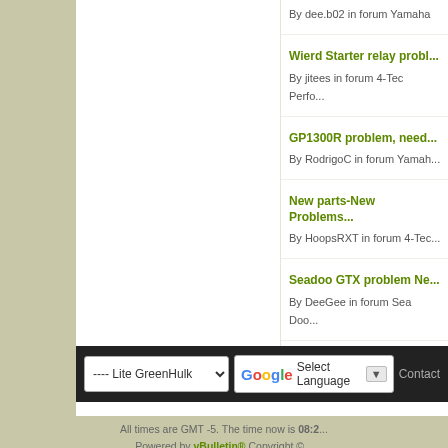By dee.b02 in forum Yamaha
Wierd Starter relay probl...
By jitees in forum 4-Tec Perfo...
GP1300R problem, need...
By RodrigoC in forum Yamah...
New parts-New Problems...
By HoopsRXT in forum 4-Tec...
Seadoo GTX problem Ne...
By DeeGee in forum Sea Doo...
All times are GMT -5. The time now is 08:2...
Powered by vBulletin® Copyright ©...